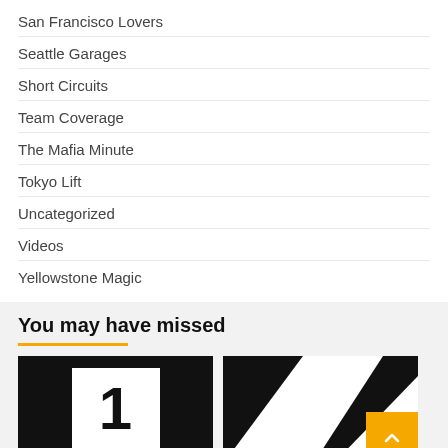San Francisco Lovers
Seattle Garages
Short Circuits
Team Coverage
The Mafia Minute
Tokyo Lift
Uncategorized
Videos
Yellowstone Magic
You may have missed
[Figure (other): Two thumbnail images side by side, left showing a large number 1 on black background, right showing a black and white graphic shape; an orange scroll-to-top button overlays the bottom right]